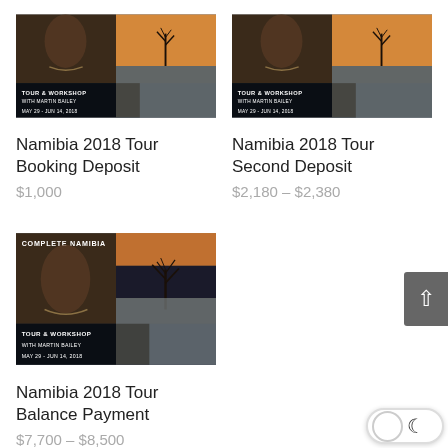[Figure (photo): Namibia 2018 Tour & Workshop product image collage with portrait, tree silhouette and landscape. Text: TOUR & WORKSHOP WITH MARTIN BAILEY MAY 29 - JUN 14, 2018]
Namibia 2018 Tour Booking Deposit
$1,000
[Figure (photo): Namibia 2018 Tour & Workshop product image collage with portrait, tree silhouette and landscape. Text: TOUR & WORKSHOP WITH MARTIN BAILEY MAY 29 - JUN 14, 2018]
Namibia 2018 Tour Second Deposit
$2,180 – $2,380
[Figure (photo): Complete Namibia 2018 Tour & Workshop product image collage with portrait, tree silhouette and landscape. Text: COMPLETE NAMIBIA, TOUR & WORKSHOP WITH MARTIN BAILEY MAY 29 - JUN 14, 2018]
Namibia 2018 Tour Balance Payment
$7,700 – $8,500